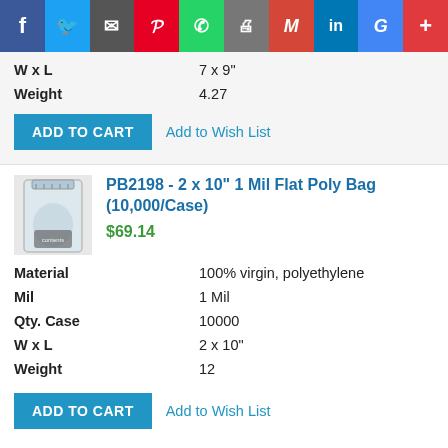[Figure (screenshot): Social media sharing bar with icons: Facebook, Twitter, Email, Pinterest, WhatsApp, Print, Gmail, LinkedIn, Google, Plus]
| W x L | 7 x 9" |
| Weight | 4.27 |
ADD TO CART   Add to Wish List
[Figure (photo): Small transparent flat poly bag product photo]
PB2198 - 2 x 10" 1 Mil Flat Poly Bag (10,000/Case)
$69.14
| Material | 100% virgin, polyethylene |
| Mil | 1 Mil |
| Qty. Case | 10000 |
| W x L | 2 x 10" |
| Weight | 12 |
ADD TO CART   Add to Wish List